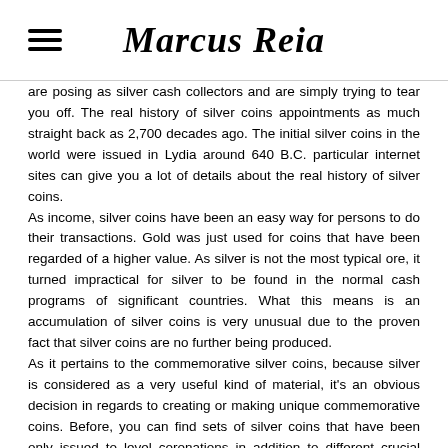Marcus Reia
are posing as silver cash collectors and are simply trying to tear you off. The real history of silver coins appointments as much straight back as 2,700 decades ago. The initial silver coins in the world were issued in Lydia around 640 B.C. particular internet sites can give you a lot of details about the real history of silver coins. As income, silver coins have been an easy way for persons to do their transactions. Gold was just used for coins that have been regarded of a higher value. As silver is not the most typical ore, it turned impractical for silver to be found in the normal cash programs of significant countries. What this means is an accumulation of silver coins is very unusual due to the proven fact that silver coins are no further being produced. As it pertains to the commemorative silver coins, because silver is considered as a very useful kind of material, it's an obvious decision in regards to creating or making unique commemorative coins. Before, you can find sets of silver coins that have been only issued to level coronations in addition to different crucial state events. A lot of economic reserves that are being used by banks have been in the proper execution of silver coins. Gold coins are an ideal kind of a reserved advantage because silver coins are not really used for circulation anymore.